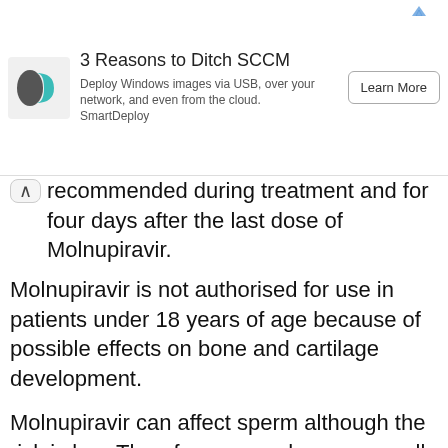[Figure (other): Advertisement banner: logo of SmartDeploy (dark grey and teal shape), title '3 Reasons to Ditch SCCM', body text 'Deploy Windows images via USB, over your network, and even from the cloud. SmartDeploy', and a 'Learn More' button. Small arrow/ad indicator in top right.]
recommended during treatment and for four days after the last dose of Molnupiravir.
Molnupiravir is not authorised for use in patients under 18 years of age because of possible effects on bone and cartilage development.
Molnupiravir can affect sperm although the risk is low. Therefore, men who are sexually active with women of childbearing potential should use a reliable method of contraception during treatment and for at least three months after